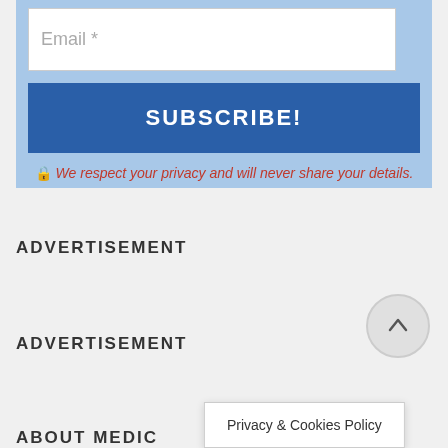Email *
SUBSCRIBE!
🔒 We respect your privacy and will never share your details.
ADVERTISEMENT
ADVERTISEMENT
ABOUT MEDIC
Privacy & Cookies Policy